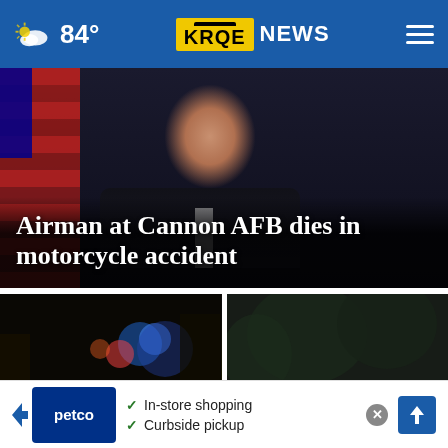84° KRQE NEWS
[Figure (photo): Hero image showing a person in a suit with an American flag background, partially visible face, dark background]
Airman at Cannon AFB dies in motorcycle accident
[Figure (photo): Night scene with emergency lights, vehicles, crowd at a street scene - Tijuana]
Tijuana murders pile up figh...
[Figure (photo): Dark outdoor scene with vehicle visible - La Linea Cartel related story]
La Linea C rtel
[Figure (other): Petco advertisement banner: In-store shopping, Curbside pickup]